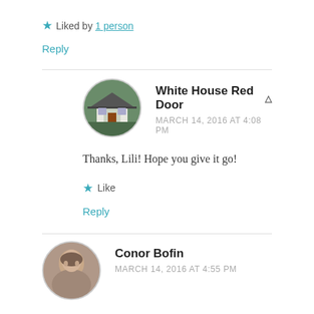★ Liked by 1 person
Reply
White House Red Door  🙂  MARCH 14, 2016 AT 4:08 PM
Thanks, Lili! Hope you give it go!
★ Like
Reply
Conor Bofin  MARCH 14, 2016 AT 4:55 PM